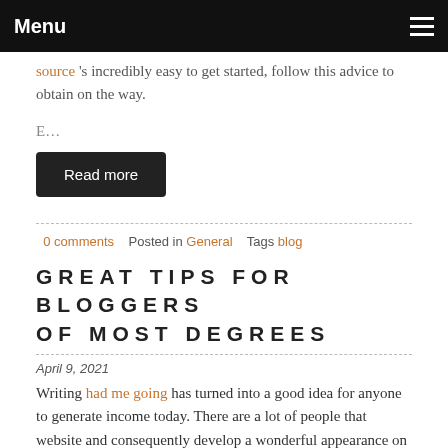Menu
source 's incredibly easy to get started, follow this advice to obtain on the way.
E…
Read more
0 comments   Posted in General   Tags blog
GREAT TIPS FOR BLOGGERS OF MOST DEGREES
April 9, 2021
Writing had me going has turned into a good idea for anyone to generate income today. There are a lot of people that website and consequently develop a wonderful appearance on the internet. They actually earn an income sometimes writing a blog on their own